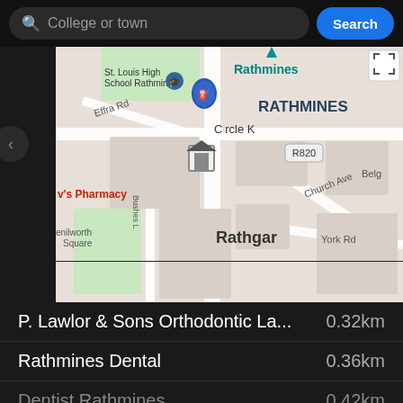College or town  Search
[Figure (map): Google Maps view showing Rathmines area in Dublin, Ireland. Shows St. Louis High School Rathmines, Circle K petrol station, R820 road, Effra Rd, Church Ave, York Rd, Kenilworth Square, Rathgar neighbourhood label, and a house marker pin.]
P. Lawlor & Sons Orthodontic La...  0.32km
Rathmines Dental  0.36km
Dentist Rathmines  0.42km
Doctor
Personal Health  0.18km
Rathmines Clinic  0.23km
Rafter's Medical Centre Churcht...  0.36km